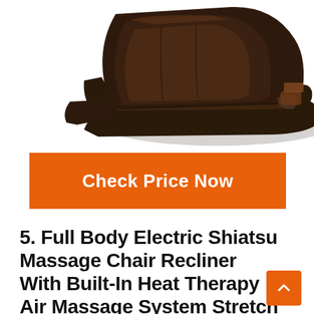[Figure (photo): A dark brown/black full-body massage chair recliner shown at an angle, partially reclined, with leather upholstery and armrests visible.]
Check Price Now
5. Full Body Electric Shiatsu Massage Chair Recliner With Built-In Heat Therapy Air Massage System Stretch